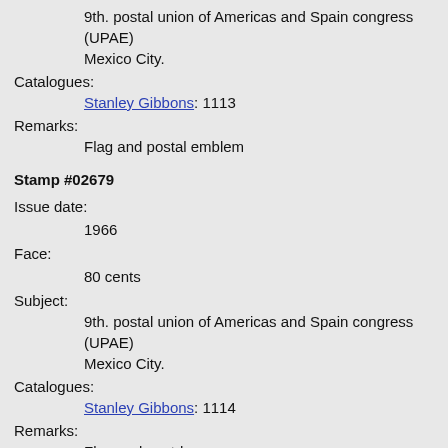9th. postal union of Americas and Spain congress (UPAE) Mexico City.
Catalogues:
Stanley Gibbons: 1113
Remarks:
Flag and postal emblem
Stamp #02679
Issue date:
1966
Face:
80 cents
Subject:
9th. postal union of Americas and Spain congress (UPAE) Mexico City.
Catalogues:
Stanley Gibbons: 1114
Remarks:
Flag and post-horn
Stamp #02681
Issue date: